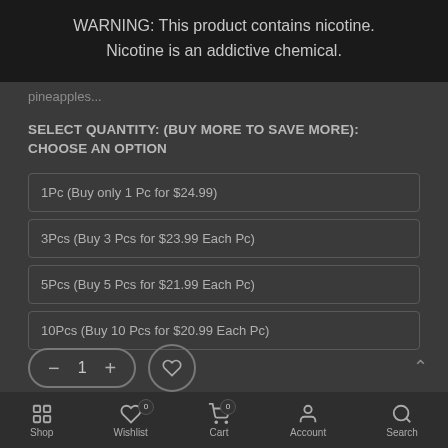WARNING: This product contains nicotine. Nicotine is an addictive chemical.
pineapples...
SELECT QUANTITY: (BUY MORE TO SAVE MORE): CHOOSE AN OPTION
1Pc (Buy only 1 Pc for $24.99)
3Pcs (Buy 3 Pcs for $23.99 Each Pc)
5Pcs (Buy 5 Pcs for $21.99 Each Pc)
10Pcs (Buy 10 Pcs for $20.99 Each Pc)
Shop   Wishlist 0   Cart 0   Account   Search